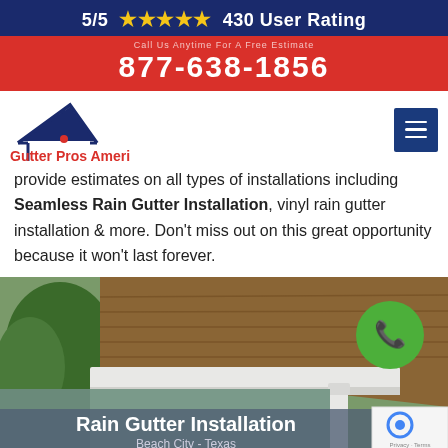5/5 ★★★★★ 430 User Rating
877-638-1856
[Figure (logo): Gutter Pros America logo with house icon and navigation menu button]
provide estimates on all types of installations including Seamless Rain Gutter Installation, vinyl rain gutter installation & more. Don't miss out on this great opportunity because it won't last forever.
[Figure (photo): Photo of white rain gutter and downspout on a house roof with green phone call button overlay. Caption reads: Rain Gutter Installation, Beach City - Texas]